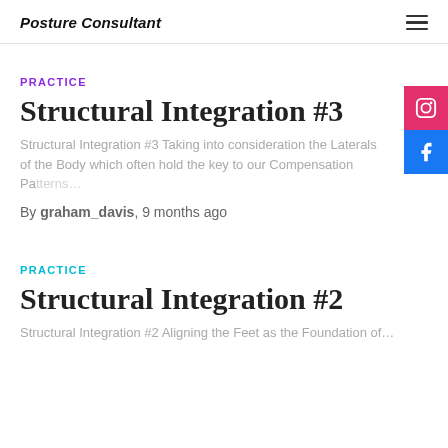Posture Consultant
PRACTICE
Structural Integration #3
Structural Integration #3 Taking into consideration the Laterals of the Body which often hold the key to our Compensation Pa…
By graham_davis, 9 months ago
PRACTICE
Structural Integration #2
Structural Integration #2 Aligning the Feet as the Foundation of…